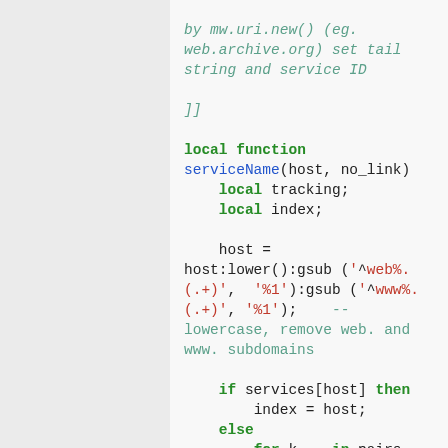by mw.uri.new() (eg. web.archive.org) set tail string and service ID
]]

local function serviceName(host, no_link)
    local tracking;
    local index;

    host = host:lower():gsub ('^web%.(.+)', '%1'):gsub ('^www%.(.+)', '%1');    -- lowercase, remove web. and www. subdomains

    if services[host] then
        index = host;
    else
        for k, _ in pairs (services) do
            if host:find ('%f[%a]'..k:gsub